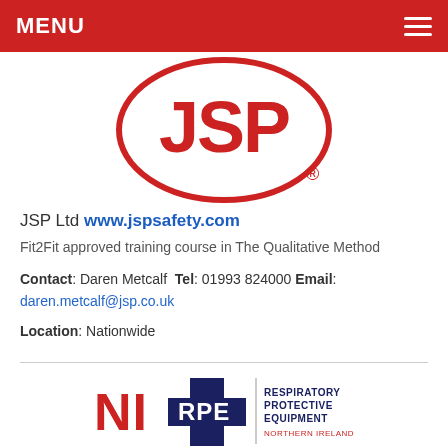MENU
[Figure (logo): JSP Ltd logo — red oval with JSP letters in red on white background, registered trademark symbol]
JSP Ltd www.jspsafety.com
Fit2Fit approved training course in The Qualitative Method
Contact: Daren Metcalf  Tel: 01993 824000  Email: daren.metcalf@jsp.co.uk
Location: Nationwide
[Figure (logo): NIRPE logo — NI in red, RPE in dark navy blue cross/plus shape, with text Respiratory Protective Equipment Northern Ireland]